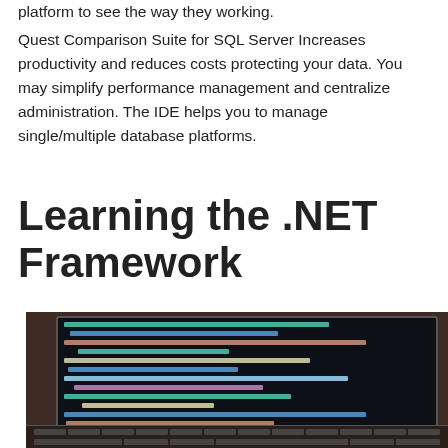platform to see the way they working.
Quest Comparison Suite for SQL Server Increases productivity and reduces costs protecting your data. You may simplify performance management and centralize administration. The IDE helps you to manage single/multiple database platforms.
Learning the .NET Framework
[Figure (photo): Laptop computer displaying code on screen, placed on a brown/wooden surface, photo taken at an angle showing the keyboard and screen with programming code visible]